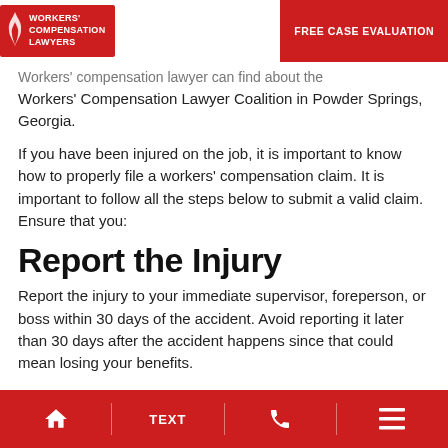Workers' Compensation Lawyers | FREE CASE EVALUATION
Workers' compensation lawyer can find about the Workers' Compensation Lawyer Coalition in Powder Springs, Georgia.
If you have been injured on the job, it is important to know how to properly file a workers' compensation claim. It is important to follow all the steps below to submit a valid claim. Ensure that you:
Report the Injury
Report the injury to your immediate supervisor, foreperson, or boss within 30 days of the accident. Avoid reporting it later than 30 days after the accident happens since that could mean losing your benefits.
File Your Claim
Home | TEXT | Phone | Menu